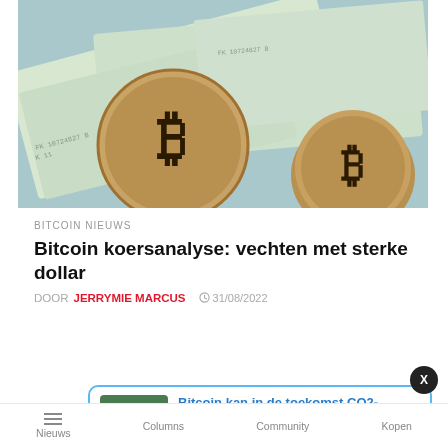[Figure (photo): Photo of Bitcoin coins placed on top of US dollar bills against a light teal background]
BITCOIN NIEUWS
Bitcoin koersanalyse: vechten met sterke dollar
DOOR JERRYMIE MARCUS  ⏰ 31/08/2022
[Figure (photo): Thumbnail of a Bitcoin coin on green leaves]
Bitcoin kan in de toekomst CO2-neutraal worden
18 minutes ago
Nieuws  Columns  Community  Kopen